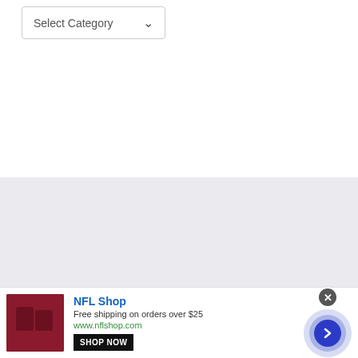[Figure (screenshot): Dropdown select box labeled 'Select Category' with a down arrow, on a white background]
[Figure (logo): DEASILEX logo in dark blue with a red horizontal bar replacing the letter A, with hamburger menu icon on the right]
No compatible source was found for this media.
[Figure (screenshot): NFL Shop advertisement banner with red product image, NFL Shop title, Free shipping on orders over $25, www.nflshop.com link, SHOP NOW button, and a circular blue arrow button]